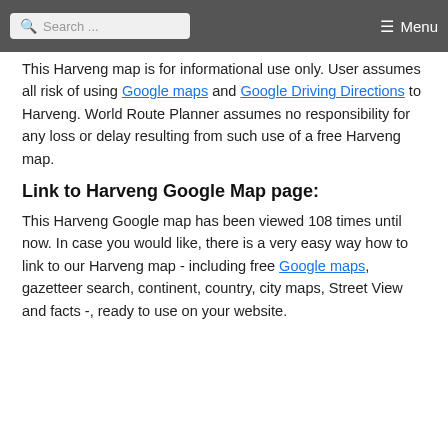Search ... Menu
This Harveng map is for informational use only. User assumes all risk of using Google maps and Google Driving Directions to Harveng. World Route Planner assumes no responsibility for any loss or delay resulting from such use of a free Harveng map.
Link to Harveng Google Map page:
This Harveng Google map has been viewed 108 times until now. In case you would like, there is a very easy way how to link to our Harveng map - including free Google maps, gazetteer search, continent, country, city maps, Street View and facts -, ready to use on your website.